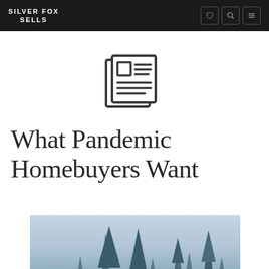SILVER FOX SELLS
[Figure (illustration): Newspaper icon — a stylized outline drawing of a folded newspaper with a small square image placeholder and horizontal text lines on the right side]
What Pandemic Homebuyers Want
[Figure (photo): Photo of evergreen/pine trees silhouetted against a pale blue-grey winter sky, shot from below looking up]